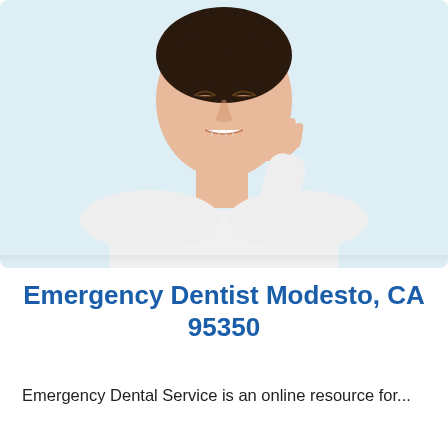[Figure (photo): Woman in white long-sleeve shirt holding her cheek/jaw in pain, eyes closed, against a light blue background — depicting tooth/dental pain.]
Emergency Dentist Modesto, CA 95350
Emergency Dental Service is an online resource for...